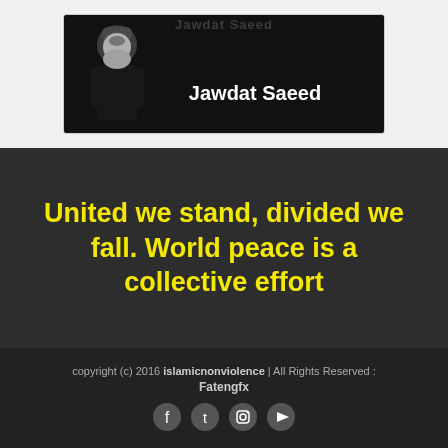[Figure (photo): Card showing Jawdat Saeed - elderly man with white beard wearing dark clothing and fur hat, against black background with bold white text 'Jawdat Saeed']
United we stand, divided we fall. World peace is a collective effort
copyright (c) 2016 islamicnonviolence | All Rights Reserved : Fatengfx